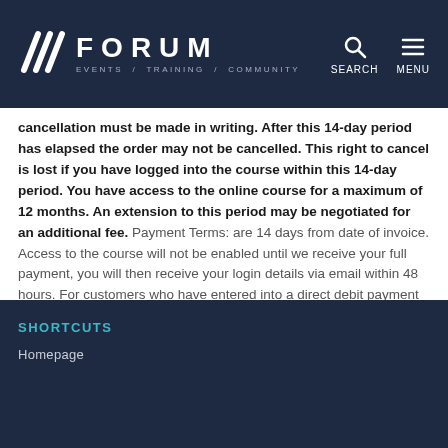FORUM EVENTS / TRAINING / COMMUNITY
cancellation must be made in writing. After this 14-day period has elapsed the order may not be cancelled. This right to cancel is lost if you have logged into the course within this 14-day period. You have access to the online course for a maximum of 12 months. An extension to this period may be negotiated for an additional fee. Payment Terms: are 14 days from date of invoice. Access to the course will not be enabled until we receive your full payment, you will then receive your login details via email within 48 hours. For customers who have entered into a direct debit payment plan your certificate of completion will not be issued until full payment has been received; should the direct debit mandate fail or be cancelled your access to the course will be disabled.
SHORTCUTS
Homepage